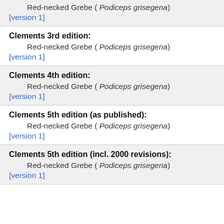Red-necked Grebe ( Podiceps grisegena)
[version 1]
Clements 3rd edition:
Red-necked Grebe ( Podiceps grisegena)
[version 1]
Clements 4th edition:
Red-necked Grebe ( Podiceps grisegena)
[version 1]
Clements 5th edition (as published):
Red-necked Grebe ( Podiceps grisegena)
[version 1]
Clements 5th edition (incl. 2000 revisions):
Red-necked Grebe ( Podiceps grisegena)
[version 1]